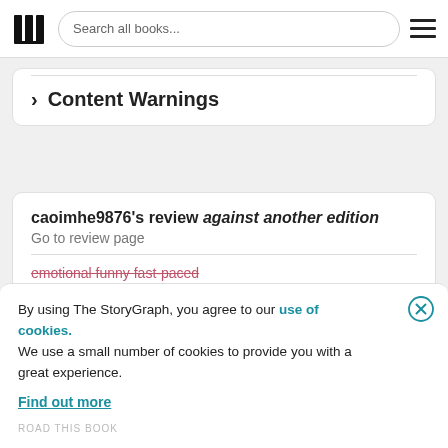Search all books...
> Content Warnings
caoimhe9876's review against another edition
Go to review page
emotional funny fast-paced
By using The StoryGraph, you agree to our use of cookies.
We use a small number of cookies to provide you with a great experience.
Find out more